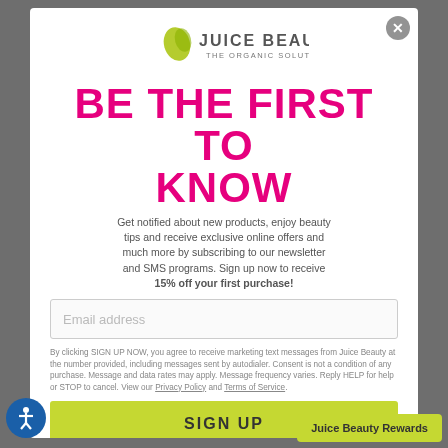[Figure (logo): Juice Beauty – The Organic Solution logo with green leaf drop icon]
BE THE FIRST TO KNOW
Get notified about new products, enjoy beauty tips and receive exclusive online offers and much more by subscribing to our newsletter and SMS programs. Sign up now to receive 15% off your first purchase!
Email address
By clicking SIGN UP NOW, you agree to receive marketing text messages from Juice Beauty at the number provided, including messages sent by autodialer. Consent is not a condition of any purchase. Message and data rates may apply. Message frequency varies. Reply HELP for help or STOP to cancel. View our Privacy Policy and Terms of Service.
SIGN UP
Juice Beauty Rewards